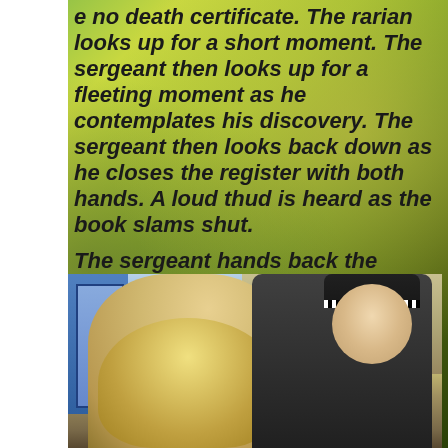[Figure (photo): Background scene with green field/outdoor area with figures, overlaid with bold italic text describing a narrative scene. Below is a photo of a blonde person and a police officer in uniform looking down.]
e no death certificate. The rarian looks up for a short ment. The sergeant then looks up for a fleeting moment as he contemplates his discovery. The sergeant then looks back down as he closes the register with both hands. A loud thud is heard as the book slams shut.

The sergeant hands back the register with his left hand as he say's, Did you know her?,